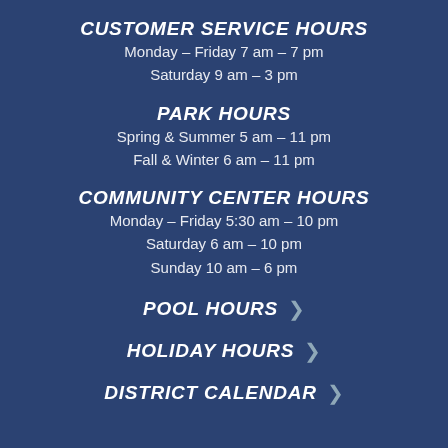CUSTOMER SERVICE HOURS
Monday – Friday 7 am – 7 pm
Saturday 9 am – 3 pm
PARK HOURS
Spring & Summer 5 am – 11 pm
Fall & Winter 6 am – 11 pm
COMMUNITY CENTER HOURS
Monday – Friday 5:30 am – 10 pm
Saturday 6 am – 10 pm
Sunday 10 am – 6 pm
POOL HOURS
HOLIDAY HOURS
DISTRICT CALENDAR